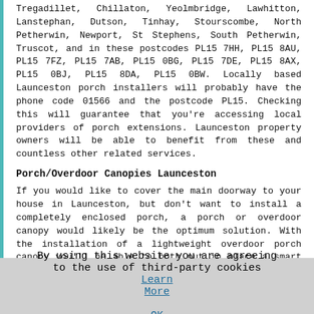Tregadillet, Chillaton, Yeolmbridge, Lawhitton, Lanstephan, Dutson, Tinhay, Stourscombe, North Petherwin, Newport, St Stephens, South Petherwin, Truscot, and in these postcodes PL15 7HH, PL15 8AU, PL15 7FZ, PL15 7AB, PL15 0BG, PL15 7DE, PL15 8AX, PL15 0BJ, PL15 8DA, PL15 0BW. Locally based Launceston porch installers will probably have the phone code 01566 and the postcode PL15. Checking this will guarantee that you're accessing local providers of porch extensions. Launceston property owners will be able to benefit from these and countless other related services.
Porch/Overdoor Canopies Launceston
If you would like to cover the main doorway to your house in Launceston, but don't want to install a completely enclosed porch, a porch or overdoor canopy would likely be the optimum solution. With the installation of a lightweight overdoor porch canopy you'll be able to both put in place a smart looking entrance that will improve the look of your house, and while doing so shield your front door from the worst of the Launceston weather. To match the design features of just about any house in Launceston, porch canopies are offered in a wide range of shapes and styles. Generally speaking, the hipped canopy, the mono...
By using this website you are agreeing to the use of third-party cookies Learn More  OK